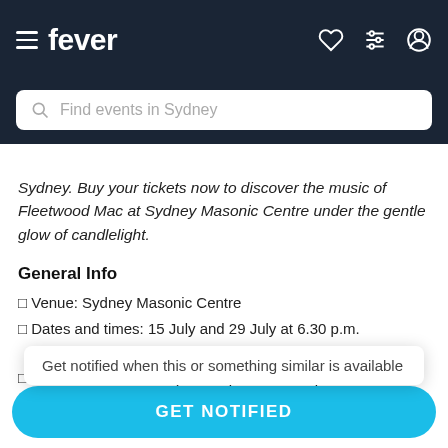fever — Find events in Sydney
Sydney. Buy your tickets now to discover the music of Fleetwood Mac at Sydney Masonic Centre under the gentle glow of candlelight.
General Info
🔹 Venue: Sydney Masonic Centre
🔹 Dates and times: 15 July and 29 July at 6.30 p.m. and 8.30 p.m. (select during purchase)
🔹 Duration: 65 minutes (doors open 30 mins prior to th
Get notified when this or something similar is available
🔹 Age requirement: 8 years old or older. Anyone